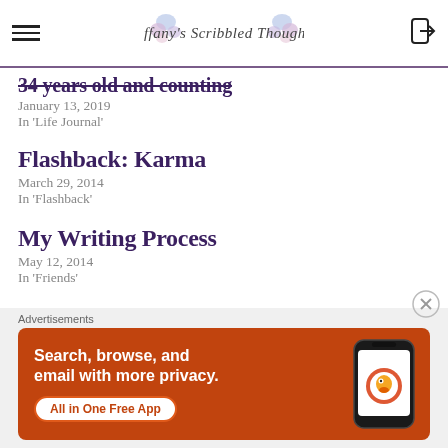Tiffany's Scribbled Thoughts
34 years old and counting
January 13, 2019
In 'Life Journal'
Flashback: Karma
March 29, 2014
In 'Flashback'
My Writing Process
May 12, 2014
In 'Friends'
[Figure (screenshot): DuckDuckGo advertisement banner: orange background with text 'Search, browse, and email with more privacy. All in One Free App' and a phone mockup showing DuckDuckGo app]